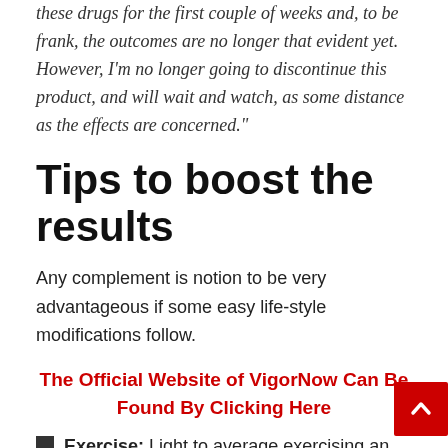these drugs for the first couple of weeks and, to be frank, the outcomes are no longer that evident yet. However, I'm no longer going to discontinue this product, and will wait and watch, as some distance as the effects are concerned."
Tips to boost the results
Any complement is notion to be very advantageous if some easy life-style modifications follow.
The Official Website of VigorNow Can Be Found By Clicking Here
Exercise: Light to average exercising an